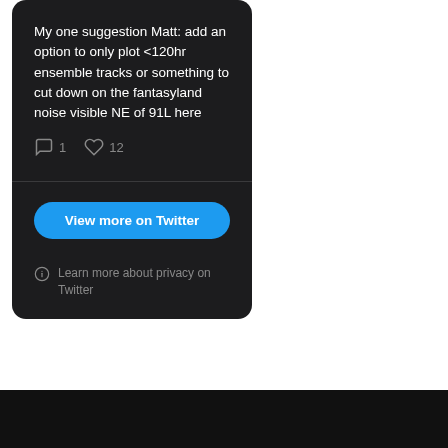My one suggestion Matt: add an option to only plot <120hr ensemble tracks or something to cut down on the fantasyland noise visible NE of 91L here
1   12
View more on Twitter
Learn more about privacy on Twitter